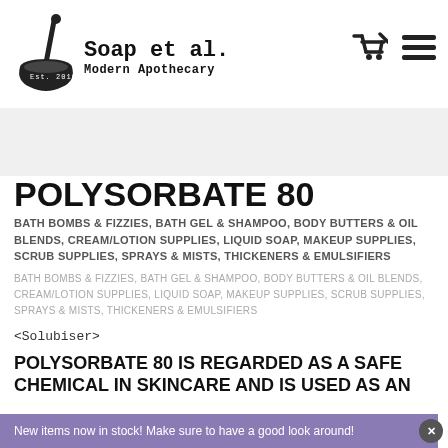[Figure (logo): Soap et al. Modern Apothecary logo with mortar and pestle icon, Est. 2016]
[Figure (illustration): Shopping cart icon and hamburger menu icon in top right header]
POLYSORBATE 80
BATH BOMBS & FIZZIES, BATH GEL & SHAMPOO, BODY BUTTERS & OIL BLENDS, CREAM/LOTION SUPPLIES, LIQUID SOAP, MAKEUP SUPPLIES, SCRUB SUPPLIES, SPRAYS & MISTS, THICKENERS & EMULSIFIERS
BATH BOMBS & FIZZIES, BATH GEL & SHAMPOO, BODY BUTTERS & OIL BLENDS, CREAM/LOTION SUPPLIES, LIQUID SOAP, MAKEUP SUPPLIES, SCRUB SUPPLIES, SPRAYS & MISTS, THICKENERS & EMULSIFIERS
<Solubiser>
POLYSORBATE 80 IS REGARDED AS A SAFE CHEMICAL IN SKINCARE AND IS USED AS AN
New items now in stock! Make sure to have a good look around!